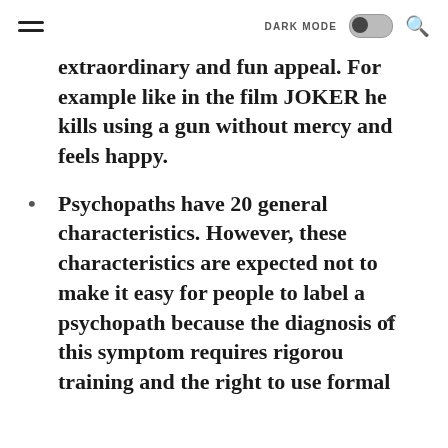DARK MODE [toggle] [search]
extraordinary and fun appeal. For example like in the film JOKER he kills using a gun without mercy and feels happy.
Psychopaths have 20 general characteristics. However, these characteristics are expected not to make it easy for people to label a psychopath because the diagnosis of this symptom requires rigorous training and the right to use formal